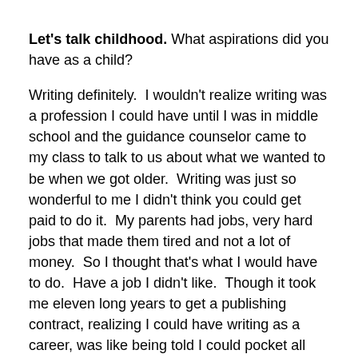Let's talk childhood. What aspirations did you have as a child?
Writing definitely.  I wouldn't realize writing was a profession I could have until I was in middle school and the guidance counselor came to my class to talk to us about what we wanted to be when we got older.  Writing was just so wonderful to me I didn't think you could get paid to do it.  My parents had jobs, very hard jobs that made them tired and not a lot of money.  So I thought that's what I would have to do.  Have a job I didn't like.  Though it took me eleven long years to get a publishing contract, realizing I could have writing as a career, was like being told I could pocket all the stars in the night sky and have light with me forever.